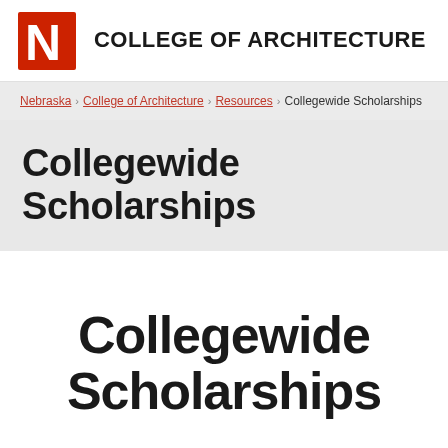COLLEGE OF ARCHITECTURE
Nebraska › College of Architecture › Resources › Collegewide Scholarships
Collegewide Scholarships
Collegewide Scholarships